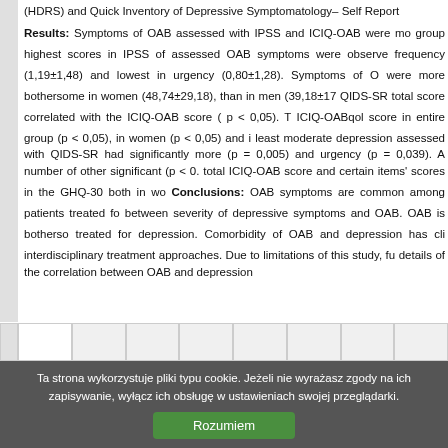(HDRS) and Quick Inventory of Depressive Symptomatology– Self Report Results: Symptoms of OAB assessed with IPSS and ICIQ-OAB were more... group highest scores in IPSS of assessed OAB symptoms were observed in frequency (1,19±1,48) and lowest in urgency (0,80±1,28). Symptoms of OAB were more bothersome in women (48,74±29,18), than in men (39,18±17...). QIDS-SR total score correlated with the ICIQ-OAB score ( p < 0,05). The ICIQ-OABqol score in entire group (p < 0,05), in women (p < 0,05) and in... least moderate depression assessed with QIDS-SR had significantly more... (p = 0,005) and urgency (p = 0,039). A number of other significant (p < 0... total ICIQ-OAB score and certain items' scores in the GHQ-30 both in wom... Conclusions: OAB symptoms are common among patients treated for depression... between severity of depressive symptoms and OAB. OAB is bothersome among patients treated for depression. Comorbidity of OAB and depression has clinical implications for interdisciplinary treatment approaches. Due to limitations of this study, further research on details of the correlation between OAB and depression
Indexed in Web of Science (ESCI), EMBASE/Excerpta Medica, PsycINFO, EBSCO, Index Copernicus , 70 points MNiSW, PL, CrossRef/DOI, Cochrane Library, SCOPUS, ERIH PLUS
Ta strona wykorzystuje pliki typu cookie. Jeżeli nie wyrażasz zgody na ich zapisywanie, wyłącz ich obsługę w ustawieniach swojej przeglądarki.